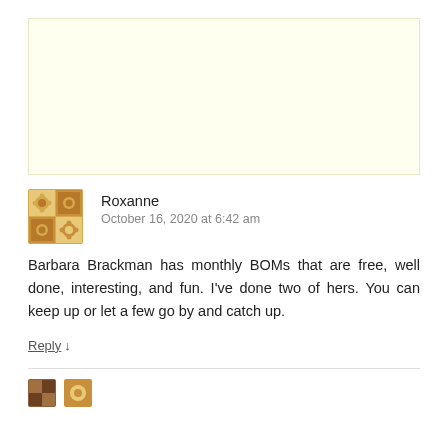[Figure (other): Light yellow advertisement banner placeholder]
Roxanne
October 16, 2020 at 6:42 am
Barbara Brackman has monthly BOMs that are free, well done, interesting, and fun. I've done two of hers. You can keep up or let a few go by and catch up.
Reply ↓